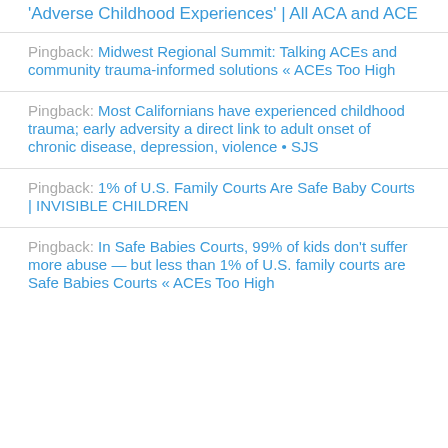'Adverse Childhood Experiences' | All ACA and ACE
Pingback: Midwest Regional Summit: Talking ACEs and community trauma-informed solutions « ACEs Too High
Pingback: Most Californians have experienced childhood trauma; early adversity a direct link to adult onset of chronic disease, depression, violence • SJS
Pingback: 1% of U.S. Family Courts Are Safe Baby Courts | INVISIBLE CHILDREN
Pingback: In Safe Babies Courts, 99% of kids don't suffer more abuse — but less than 1% of U.S. family courts are Safe Babies Courts « ACEs Too High